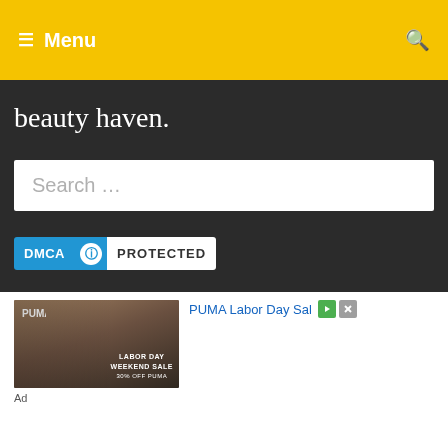Menu
beauty haven.
Search …
[Figure (logo): DMCA Protected badge with blue background showing 'DMCA' text, lock icon, and 'PROTECTED' text]
[Figure (photo): PUMA Labor Day Weekend Sale advertisement showing athlete in PUMA gear with text 'LABOR DAY WEEKEND SALE 30% OFF PUMA']
Ad